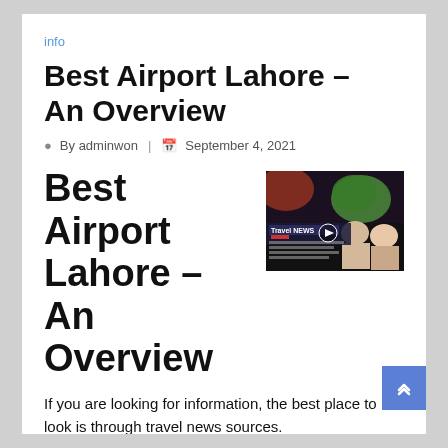info
Best Airport Lahore – An Overview
By adminwon | September 4, 2021
Best Airport Lahore – An Overview
[Figure (screenshot): Travel NEWS video thumbnail showing a news broadcast with a map and two female anchors]
If you are looking for information, the best place to look is through travel news sources. The